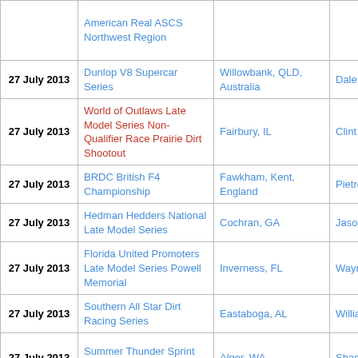| Date | Series | Location | Winner | Laps |
| --- | --- | --- | --- | --- |
|  | American Real ASCS Northwest Region |  |  |  |
| 27 July 2013 | Dunlop V8 Supercar Series | Willowbank, QLD, Australia | Dale Wood | 14 |
| 27 July 2013 | World of Outlaws Late Model Series Non-Qualifier Race Prairie Dirt Shootout | Fairbury, IL | Clint Smith | 30 |
| 27 July 2013 | BRDC British F4 Championship | Fawkham, Kent, England | Pietro Fittipaldi | 14 |
| 27 July 2013 | Hedman Hedders National Late Model Series | Cochran, GA | Jason Fitzgerald | 50 |
| 27 July 2013 | Florida United Promoters Late Model Series Powell Memorial | Inverness, FL | Wayne Anderson | 125 |
| 27 July 2013 | Southern All Star Dirt Racing Series | Eastaboga, AL | William Thomas | 40 |
| 27 July 2013 | Summer Thunder Sprint Series | Alger, WA | Shane Stewart | 40 |